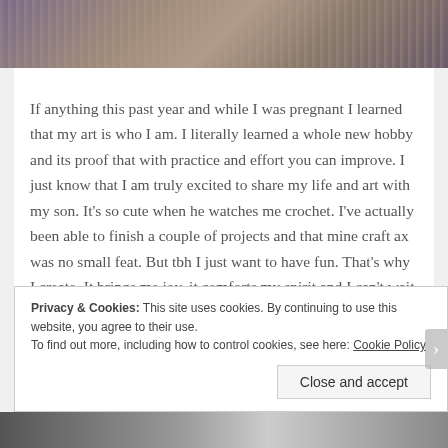[Figure (photo): Partial photo showing crocheted items, blurred/cropped at top of page]
If anything this past year and while I was pregnant I learned that my art is who I am. I literally learned a whole new hobby and its proof that with practice and effort you can improve. I just know that I am truly excited to share my life and art with my son. It’s so cute when he watches me crochet. I’ve actually been able to finish a couple of projects and that mine craft ax was no small feat. But tbh I just want to have fun. That’s why I create. It brings me joy, it comforts my spirit and I can’t wait to share that with him.
Privacy & Cookies: This site uses cookies. By continuing to use this website, you agree to their use.
To find out more, including how to control cookies, see here: Cookie Policy
Close and accept